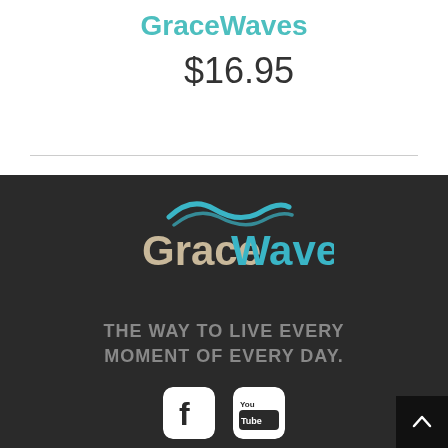GraceWaves
$16.95
[Figure (logo): GraceWaves logo with teal wave above text 'GraceWaves' where 'Grace' is in beige/tan and 'Waves' is in teal/blue, on dark background]
THE WAY TO LIVE EVERY MOMENT OF EVERY DAY.
[Figure (other): Facebook and YouTube social media icons, white rounded square icons on dark background]
Need Addiction Help? Visit Chrysalis Interventions.